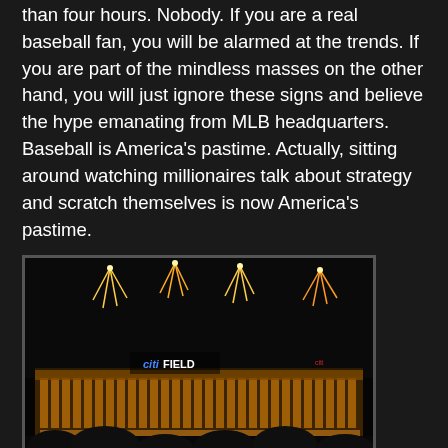than four hours. Nobody. If you are a real baseball fan, you will be alarmed at the trends. If you are part of the mindless masses on the other hand, you will just ignore these signs and believe the hype emanating from MLB headquarters. Baseball is America's pastime. Actually, sitting around watching millionaires talk about strategy and scratch themselves is now America's pastime.
[Figure (photo): Nighttime aerial photo of Citi Field baseball stadium with fireworks going off above it. The stadium is brightly lit with golden lights. The Citi Field sign is visible on the structure. Dark sky background with trees visible in the foreground.]
Amazingly, few of the 30,377 on hand left, waiting for the fireworks show after the game. That is one way to keep your audience captive. I did not hang around, taking the picture above from the subway station as the show started. On the